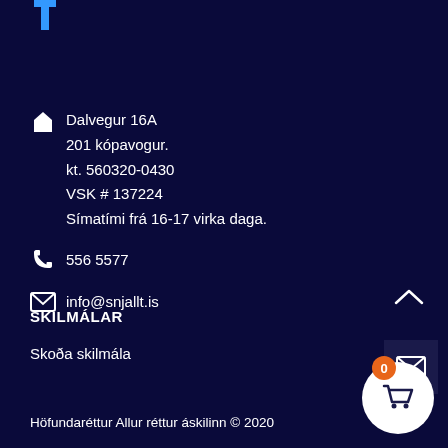[Figure (logo): Blue T-shaped logo at top left]
Dalvegur 16A
201 kópavogur.
kt. 560320-0430
VSK # 137224
Símatími frá 16-17 virka daga.
556 5577
info@snjallt.is
SKILMÁLAR
Skoða skilmála
Höfundaréttur Allur réttur áskilinn © 2020